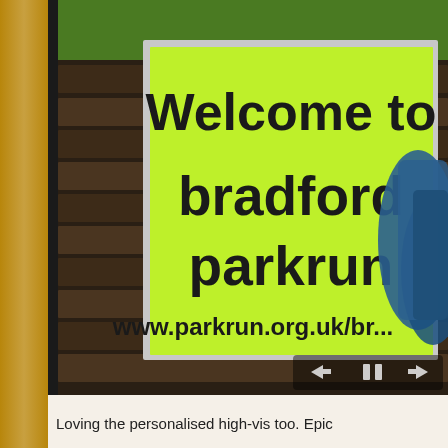[Figure (photo): A photograph showing a bright yellow-green sign resting on a wooden bench/table outdoors. The sign reads 'Welcome to bradford parkrun' with 'www.parkrun.org.uk/br...' partially visible. A blue jacket or clothing item is draped over the right side of the sign. The background shows grass and the wooden slats of a bench. The image is displayed in a dark-framed slideshow interface with navigation arrow controls (back, pause, forward) visible at the bottom right.]
Loving the personalised high-vis too.  Epic